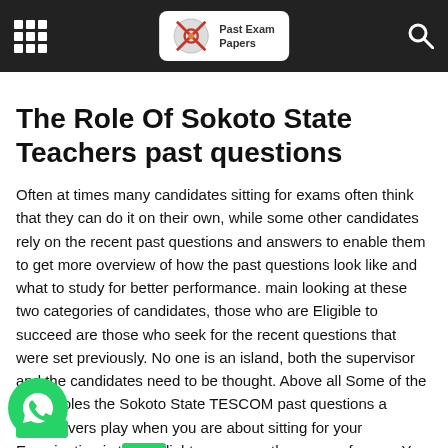Past Exam Papers
The Role Of Sokoto State Teachers past questions
Often at times many candidates sitting for exams often think that they can do it on their own, while some other candidates rely on the recent past questions and answers to enable them to get more overview of how the past questions look like and what to study for better performance. main looking at these two categories of candidates, those who are Eligible to succeed are those who seek for the recent questions that were set previously. No one is an island, both the supervisor and the candidates need to be thought. Above all Some of the major roles the Sokoto State TESCOM past questions a...vers play when you are about sitting for your Examination is t...lightens you on the scope of exam, You won't be in the dark about questions to expect in the examination which is very